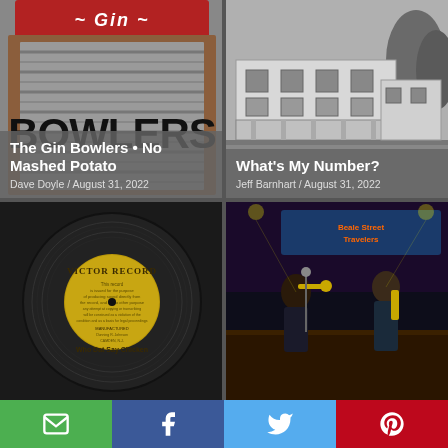[Figure (photo): A washboard with 'Gin Bowlers' text painted on it in a rustic style, red top portion]
The Gin Bowlers • No Mashed Potato
Dave Doyle / August 31, 2022
[Figure (photo): Black and white photograph of a large two-story colonial building on a street corner]
What's My Number?
Jeff Barnhart / August 31, 2022
[Figure (photo): A Victor Record vinyl disc with label reading 'Who Dat Say Chicken']
[Figure (photo): Musicians performing on stage with a banner in the background, trumpet player in foreground]